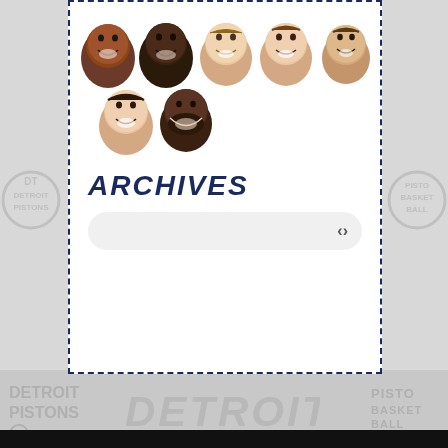[Figure (illustration): Seven cartoon illustrated face/head icons of basketball players arranged in two rows. Top row has five faces (two dark-skinned, one light-skinned with receding hair, one light-skinned, one tan). Second row has two faces (one light-skinned, one dark-skinned). Detroit Pistons branded background with watermark logos and text.]
ARCHIVES
[Figure (screenshot): A dropdown/select UI element with light gray rounded rectangle background and a downward chevron arrow on the right side.]